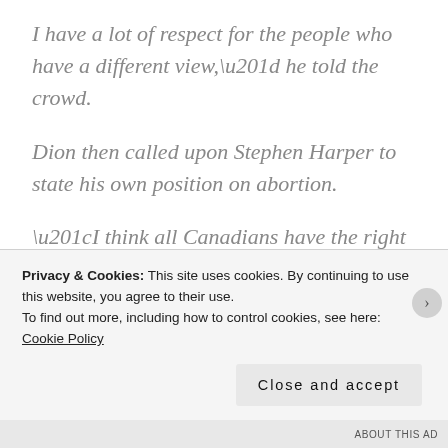I have a lot of respect for the people who have a different view,” he told the crowd.
Dion then called upon Stephen Harper to state his own position on abortion.
“I think all Canadians have the right to know what the party leader thinks,” he said. “I gave my opinion. I want to hear the opinion of Stephen Harper.”
Privacy & Cookies: This site uses cookies. By continuing to use this website, you agree to their use.
To find out more, including how to control cookies, see here: Cookie Policy
Close and accept